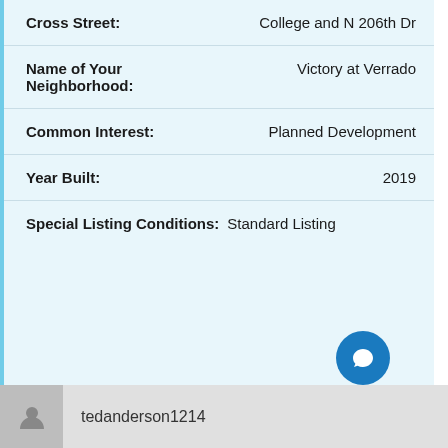| Field | Value |
| --- | --- |
| Cross Street: | College and N 206th Dr |
| Name of Your Neighborhood: | Victory at Verrado |
| Common Interest: | Planned Development |
| Year Built: | 2019 |
| Special Listing Conditions: | Standard Listing |
tedanderson1214